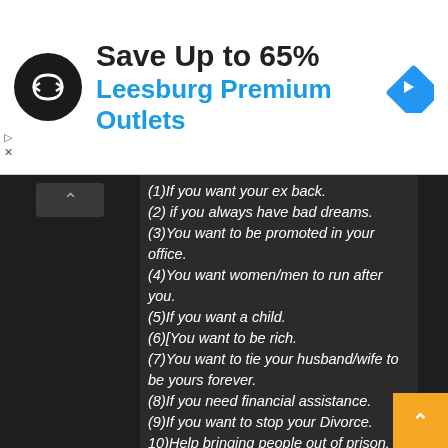[Figure (infographic): Advertisement banner: circular black logo with double arrow symbol, text 'Save Up to 65%' in bold dark, 'Leesburg Premium Outlets' in blue, and blue diamond navigation icon on right]
(1)If you want your ex back.
(2) if you always have bad dreams.
(3)You want to be promoted in your office.
(4)You want women/men to run after you.
(5)If you want a child.
(6)[You want to be rich.
(7)You want to tie your husband/wife to be yours forever.
(8)If you need financial assistance.
(9)If you want to stop your Divorce.
10)Help bringing people out of prison.
(11)Marriage Spells
(12)Miracle Spells
(13)Beauty Spells
(14)PROPHECY CHARM